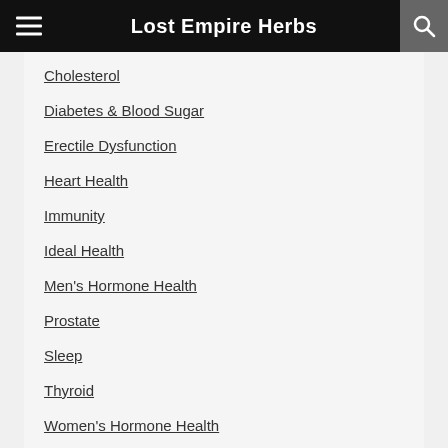Lost Empire Herbs
Cholesterol
Diabetes & Blood Sugar
Erectile Dysfunction
Heart Health
Immunity
Ideal Health
Men's Hormone Health
Prostate
Sleep
Thyroid
Women's Hormone Health